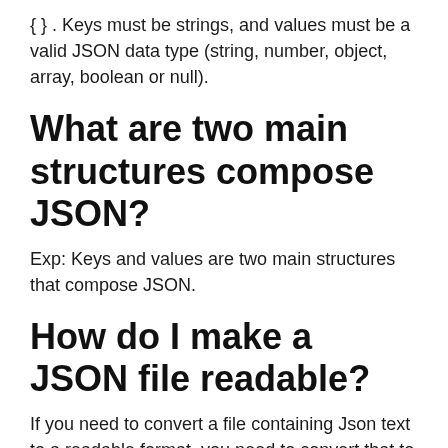{ } . Keys must be strings, and values must be a valid JSON data type (string, number, object, array, boolean or null).
What are two main structures compose JSON?
Exp: Keys and values are two main structures that compose JSON.
How do I make a JSON file readable?
If you need to convert a file containing Json text to a readable format, you need to convert that to an Object and implement toString() method(assuming converting to